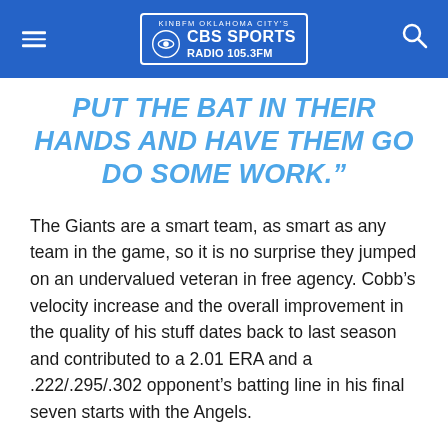KINBFM OKLAHOMA CITY'S CBS SPORTS RADIO 105.3FM
PUT THE BAT IN THEIR HANDS AND HAVE THEM GO DO SOME WORK.”
The Giants are a smart team, as smart as any team in the game, so it is no surprise they jumped on an undervalued veteran in free agency. Cobb’s velocity increase and the overall improvement in the quality of his stuff dates back to last season and contributed to a 2.01 ERA and a .222/.295/.302 opponent’s batting line in his final seven starts with the Angels.
Given his age and injury history, it’s fair to wonder whether Cobb’s newfound velocity will stick all season. Fatigue could become an issue at some point. For now, the Giants might have the best ever version of Cobb, who was a pretty darn good pitcher back in the day with the Rays. Making